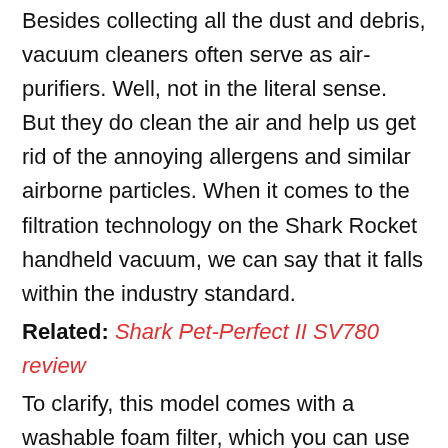Besides collecting all the dust and debris, vacuum cleaners often serve as air-purifiers. Well, not in the literal sense. But they do clean the air and help us get rid of the annoying allergens and similar airborne particles. When it comes to the filtration technology on the Shark Rocket handheld vacuum, we can say that it falls within the industry standard.
Related: Shark Pet-Perfect II SV780 review
To clarify, this model comes with a washable foam filter, which you can use numerous times. All you need to do is to remove the filter once in a while and rinse it out with warm water. Depending on your cleaning needs, you will need to wash the filter more or less frequently. On average, once a month or so will be more than enough.